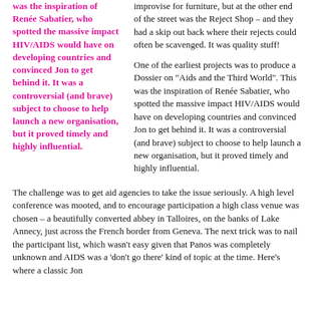was the inspiration of Renée Sabatier, who spotted the massive impact HIV/AIDS would have on developing countries and convinced Jon to get behind it.  It was a controversial (and brave) subject to choose to help launch a new organisation, but it proved timely and highly influential.
improvise for furniture, but at the other end of the street was the Reject Shop – and they had a skip out back where their rejects could often be scavenged.  It was quality stuff!
One of the earliest projects was to produce a Dossier on "Aids and the Third World".  This was the inspiration of Renée Sabatier, who spotted the massive impact HIV/AIDS would have on developing countries and convinced Jon to get behind it.  It was a controversial (and brave) subject to choose to help launch a new organisation, but it proved timely and highly influential.
The challenge was to get aid agencies to take the issue seriously.  A high level conference was mooted, and to encourage participation a high class venue was chosen – a beautifully converted abbey in Talloires, on the banks of Lake Annecy, just across the French border from Geneva.  The next trick was to nail the participant list, which wasn't easy given that Panos was completely unknown and AIDS was a 'don't go there' kind of topic at the time.  Here's where a classic Jon